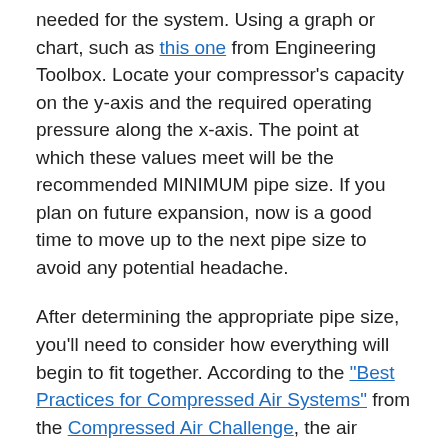needed for the system. Using a graph or chart, such as this one from Engineering Toolbox. Locate your compressor's capacity on the y-axis and the required operating pressure along the x-axis. The point at which these values meet will be the recommended MINIMUM pipe size. If you plan on future expansion, now is a good time to move up to the next pipe size to avoid any potential headache.
After determining the appropriate pipe size, you'll need to consider how everything will begin to fit together. According to the "Best Practices for Compressed Air Systems" from the Compressed Air Challenge, the air should enter the compressed air header at a 45° angle, in the direction of flow and always through wide-radius elbows. A sharp angle anywhere in the piping system will result in an unnecessary pressure drop. When the air must make a sharp turn, it is forced to slow down. This causes turbulence within the pipe as the air slams into the